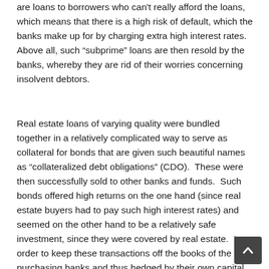are loans to borrowers who can't really afford the loans, which means that there is a high risk of default, which the banks make up for by charging extra high interest rates.  Above all, such “subprime” loans are then resold by the banks, whereby they are rid of their worries concerning insolvent debtors.
Real estate loans of varying quality were bundled together in a relatively complicated way to serve as collateral for bonds that are given such beautiful names as “collateralized debt obligations” (CDO).  These were then successfully sold to other banks and funds.  Such bonds offered high returns on the one hand (since real estate buyers had to pay such high interest rates) and seemed on the other hand to be a relatively safe investment, since they were covered by real estate.  In order to keep these transactions off the books of the purchasing banks and thus hedged by their own capital, so-called “Structured Investment Vehicles” (SIV) were founded, which acted as foreign subsidiaries.  They refinanced the costs of these investments with short-